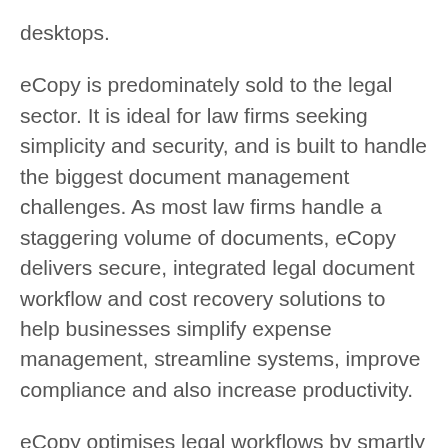desktops.
eCopy is predominately sold to the legal sector. It is ideal for law firms seeking simplicity and security, and is built to handle the biggest document management challenges. As most law firms handle a staggering volume of documents, eCopy delivers secure, integrated legal document workflow and cost recovery solutions to help businesses simplify expense management, streamline systems, improve compliance and also increase productivity.
eCopy optimises legal workflows by smartly integrating cost recovery, simplifying complex tasks. It simply makes life easier for your ever-mobile workforce. Here’s how: